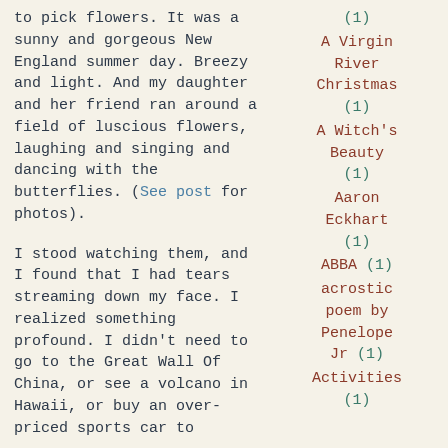to pick flowers. It was a sunny and gorgeous New England summer day. Breezy and light. And my daughter and her friend ran around a field of luscious flowers, laughing and singing and dancing with the butterflies. (See post for photos).
I stood watching them, and I found that I had tears streaming down my face. I realized something profound. I didn't need to go to the Great Wall Of China, or see a volcano in Hawaii, or buy an over-priced sports car to
(1)
A Virgin River Christmas (1)
A Witch's Beauty (1)
Aaron Eckhart (1)
ABBA (1)
acrostic poem by Penelope Jr (1)
Activities (1)